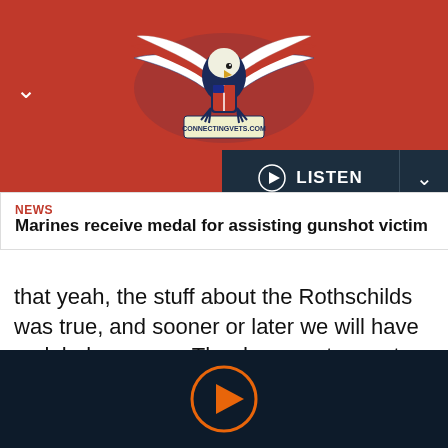[Figure (logo): ConnectingVets.com eagle logo with American flag wings on red banner background]
NEWS
Marines receive medal for assisting gunshot victim
that yeah, the stuff about the Rothschilds was true, and sooner or later we will have a global currency. The documentary got even darker, spinning a vision of global elites who plan to exterminate the human race. I asked my team sergeant if I could borrow it a few days later so I could watch it from beginning to end.
[Figure (other): Play button icon on dark navy background at bottom of page]